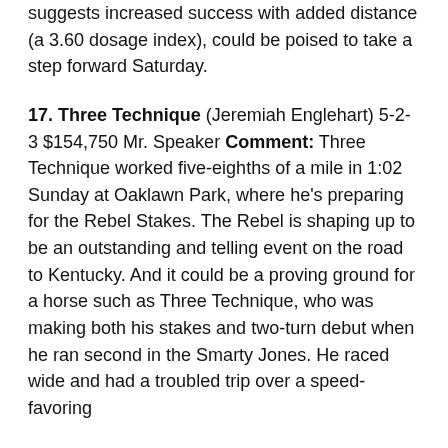suggests increased success with added distance (a 3.60 dosage index), could be poised to take a step forward Saturday.
17. Three Technique (Jeremiah Englehart) 5-2-3 $154,750 Mr. Speaker Comment: Three Technique worked five-eighths of a mile in 1:02 Sunday at Oaklawn Park, where he's preparing for the Rebel Stakes. The Rebel is shaping up to be an outstanding and telling event on the road to Kentucky. And it could be a proving ground for a horse such as Three Technique, who was making both his stakes and two-turn debut when he ran second in the Smarty Jones. He raced wide and had a troubled trip over a speed-favoring